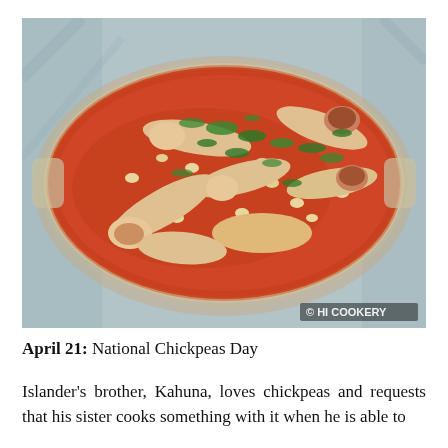[Figure (photo): A glass baking dish filled with chicken pieces in a red tomato-based sauce with white chickpeas/beans, garnished with fresh chopped green herb (parsley or cilantro). The dish sits on a light blue cloth. Watermark reads '© HI COOKERY' in the bottom right.]
April 21: National Chickpeas Day
Islander's brother, Kahuna, loves chickpeas and requests that his sister cooks something with it when he is able to